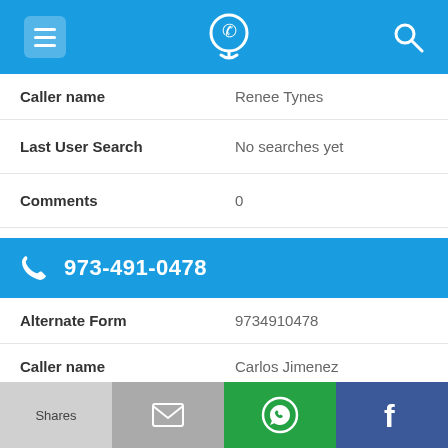[Figure (screenshot): Blue top navigation bar with hamburger menu icon, phone/location icon, and search icon on a blue background]
| Caller name | Renee Tynes |
| Last User Search | No searches yet |
| Comments | 0 |
973-491-0478
| Alternate Form | 9734910478 |
| Caller name | Carlos Jimenez |
| Last User Search | No searches yet |
[Figure (screenshot): Bottom navigation bar with Shares, email, WhatsApp, and Facebook buttons]